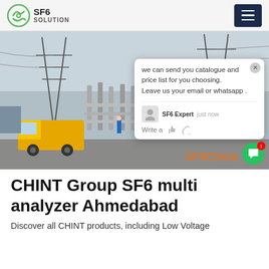SF6 SOLUTION
[Figure (photo): An electrical substation with high-voltage towers, transformers, and pipes. A yellow truck is visible in the foreground on a gravel road. A worker in blue is also visible. In the background are large transmission towers.]
we can send you catalogue and price list for you choosing. Leave us your email or whatsapp .
SF6 Expert   just now
Write a
CHINT Group SF6 multi analyzer Ahmedabad
Discover all CHINT products, including Low Voltage